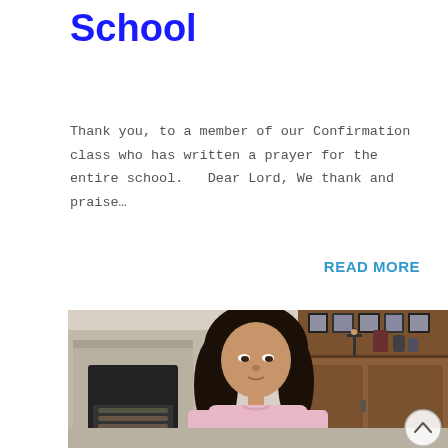School
Thank you, to a member of our Confirmation class who has written a prayer for the entire school.   Dear Lord, We thank and praise…
READ MORE
[Figure (photo): A young girl wearing a light pink shirt, sitting in a living room with a fireplace on the left and a wooden cabinet with family photos and a crucifix on the right. A scroll-to-top button is visible in the lower right corner.]